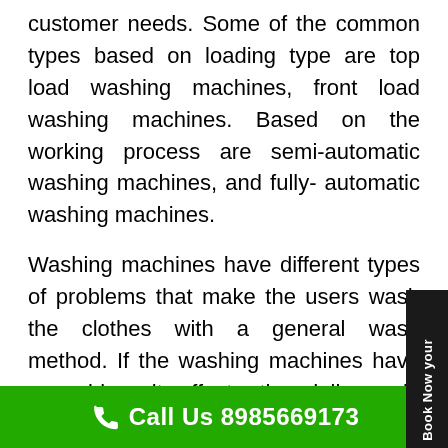customer needs. Some of the common types based on loading type are top load washing machines, front load washing machines. Based on the working process are semi-automatic washing machines, and fully- automatic washing machines.
Washing machines have different types of problems that make the users wash the clothes with a general wash method. If the washing machines have a problem it affects the daily work, sometimes it may get delayed to do other work. If washing clothes with hands. Some of the common issues causing problems are water leaking, draining issues, noise while running, vibrating when washing, washing machine not starting and not rotating while turning on.
Call Us 8985669173